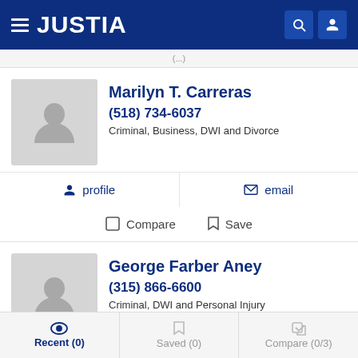[Figure (screenshot): Justia website header with hamburger menu, Justia logo, search and user icons on dark blue background]
(...)
Marilyn T. Carreras
(518) 734-6037
Criminal, Business, DWI and Divorce
profile
email
Compare
Save
George Farber Aney
(315) 866-6600
Criminal, DWI and Personal Injury
profile
Recent (0)
Saved (0)
Compare (0/3)